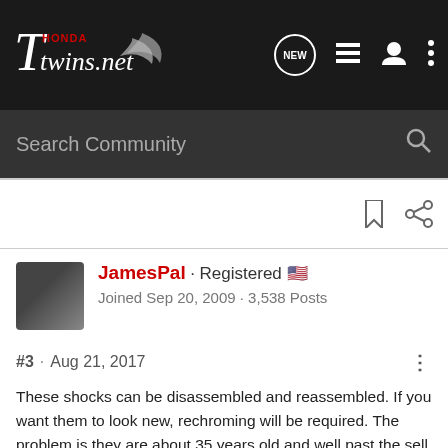[Figure (screenshot): HondaTwins.net forum website navigation bar with logo, NEW button, list icon, user icon, and more options icon]
[Figure (screenshot): Search Community search bar with magnifying glass icon]
JamesPal · Registered 🇺🇸
Joined Sep 20, 2009 · 3,538 Posts
#3 · Aug 21, 2017
These shocks can be disassembled and reassembled. If you want them to look new, rechroming will be required. The problem is they are about 35 years old and well past the sell by date. Modern shocks perform much better than the original shocks ever did. Consider an upgrade. If it was my bike, I would get it running the way you want it and then go spring for a new set. I really like the Hagons on my '72 450. They have the